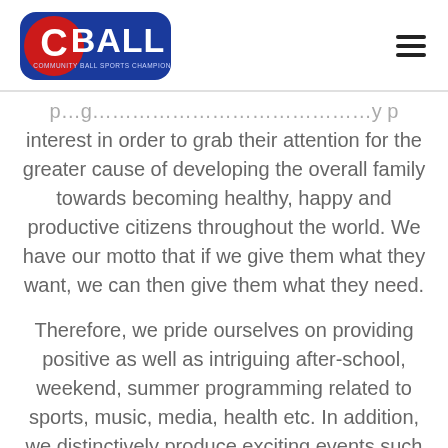[Figure (logo): CBALL logo — red C with blue rounded rectangle containing white text BALL, subtitle reads COMMUNITY BALL SPORTS CHAMPION LEAGUE]
interest in order to grab their attention for the greater cause of developing the overall family towards becoming healthy, happy and productive citizens throughout the world. We have our motto that if we give them what they want, we can then give them what they need.

Therefore, we pride ourselves on providing positive as well as intriguing after-school, weekend, summer programming related to sports, music, media, health etc. In addition, we distinctively produce exciting events such as age appropriate parties, fun-filled outings,